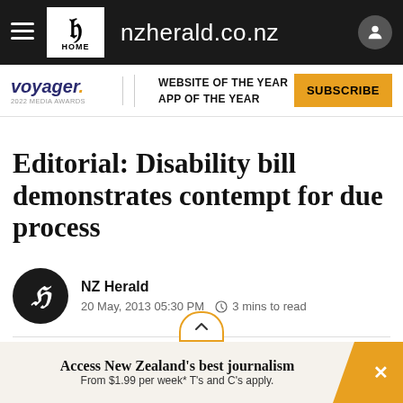nzherald.co.nz
[Figure (logo): Voyager 2022 Media Awards logo with text: WEBSITE OF THE YEAR APP OF THE YEAR and SUBSCRIBE button]
Editorial: Disability bill demonstrates contempt for due process
NZ Herald
20 May, 2013 05:30 PM  3 mins to read
Save  Share
Access New Zealand's best journalism
From $1.99 per week* T's and C's apply.